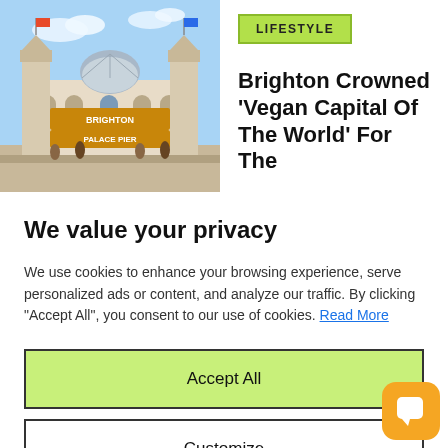[Figure (photo): Photo of Brighton Palace Pier with ornate entrance building, flags, and dome under blue sky]
LIFESTYLE
Brighton Crowned 'Vegan Capital Of The World' For The
We value your privacy
We use cookies to enhance your browsing experience, serve personalized ads or content, and analyze our traffic. By clicking "Accept All", you consent to our use of cookies. Read More
Accept All
Customize
Reject All